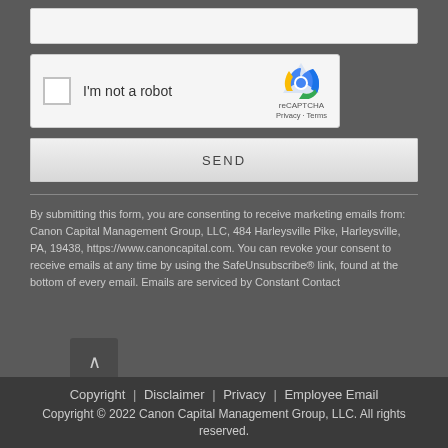[Figure (screenshot): Text input field (empty, light grey background)]
[Figure (screenshot): reCAPTCHA widget with checkbox labeled 'I'm not a robot', reCAPTCHA logo, Privacy and Terms links]
[Figure (screenshot): SEND button with grey gradient background]
By submitting this form, you are consenting to receive marketing emails from: Canon Capital Management Group, LLC, 484 Harleysville Pike, Harleysville, PA, 19438, https://www.canoncapital.com. You can revoke your consent to receive emails at any time by using the SafeUnsubscribe® link, found at the bottom of every email. Emails are serviced by Constant Contact
Copyright | Disclaimer | Privacy | Employee Email
Copyright © 2022 Canon Capital Management Group, LLC. All rights reserved.